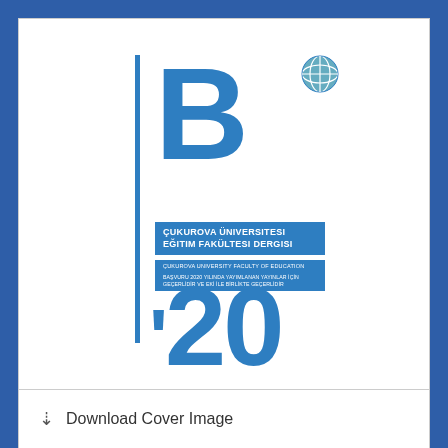[Figure (illustration): Journal cover image for Çukurova Üniversitesi Eğitim Fakültesi Dergisi (Çukurova University Faculty of Education Journal), featuring a large bold blue letter B, a vertical blue bar, a globe icon, the journal title in white text on blue background, and large bold blue '20 year number.]
Download Cover Image
ARTICLE FILES